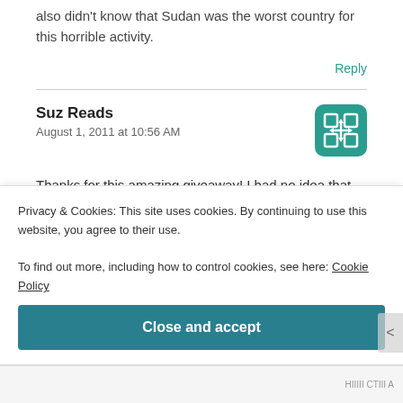also didn't know that Sudan was the worst country for this horrible activity.
Reply
Suz Reads
August 1, 2011 at 10:56 AM
[Figure (logo): Green rounded square icon with a grid/move symbol (4 squares and arrow cross)]
Thanks for this amazing giveaway! I had no idea that there were so many victims – "over 30 million victims
Privacy & Cookies: This site uses cookies. By continuing to use this website, you agree to their use.
To find out more, including how to control cookies, see here: Cookie Policy
Close and accept